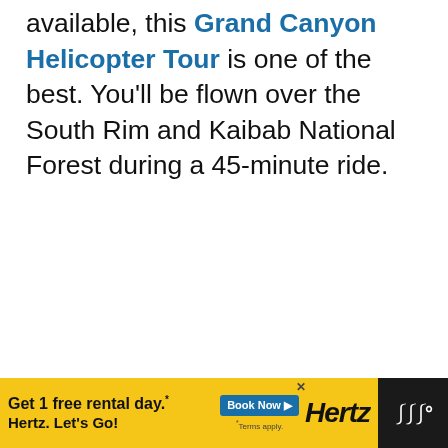available, this Grand Canyon Helicopter Tour is one of the best. You'll be flown over the South Rim and Kaibab National Forest during a 45-minute ride.
[Figure (screenshot): Heart/favorite button icon (dark blue circle with white heart) and share button (white circle with share icon), plus a 'What's Next' card showing a thumbnail image and text 'Grand Canyon in February...']
[Figure (infographic): Advertisement banner for Hertz car rental: 'Get 1 free rental day.* Hertz. Let's Go!' with 'Book Now' button and Hertz logo, on yellow background. Right side shows dark panel with Tidal music logo.]